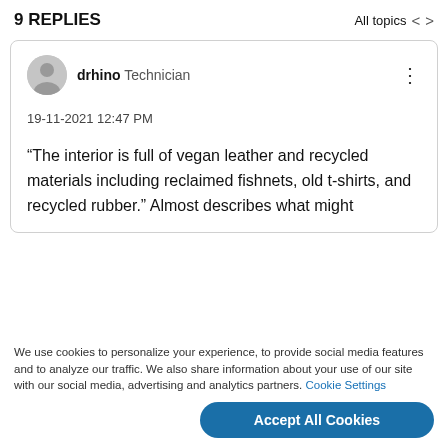9 REPLIES   All topics < >
drhino  Technician
19-11-2021 12:47 PM
“The interior is full of vegan leather and recycled materials including reclaimed fishnets, old t-shirts, and recycled rubber.” Almost describes what might
We use cookies to personalize your experience, to provide social media features and to analyze our traffic. We also share information about your use of our site with our social media, advertising and analytics partners. Cookie Settings
Accept All Cookies